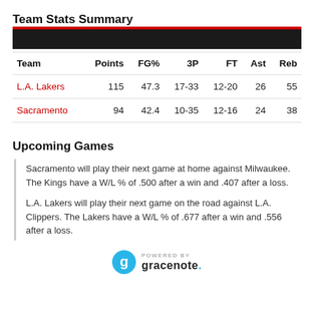Team Stats Summary
| Team | Points | FG% | 3P | FT | Ast | Reb |
| --- | --- | --- | --- | --- | --- | --- |
| L.A. Lakers | 115 | 47.3 | 17-33 | 12-20 | 26 | 55 |
| Sacramento | 94 | 42.4 | 10-35 | 12-16 | 24 | 38 |
Upcoming Games
Sacramento will play their next game at home against Milwaukee. The Kings have a W/L % of .500 after a win and .407 after a loss.
L.A. Lakers will play their next game on the road against L.A. Clippers. The Lakers have a W/L % of .677 after a win and .556 after a loss.
[Figure (logo): Powered by Gracenote logo with teal circle icon and stylized g]